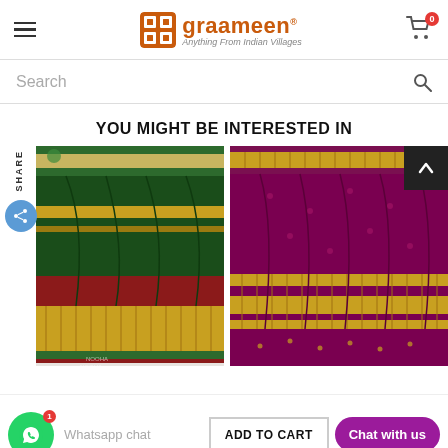graameen® — Anything From Indian Villages
Search
YOU MIGHT BE INTERESTED IN
[Figure (photo): Green and red silk saree with gold zari border folded display]
[Figure (photo): Maroon and gold silk saree with gold zari border folded display]
Whatsapp chat
ADD TO CART
Chat with us